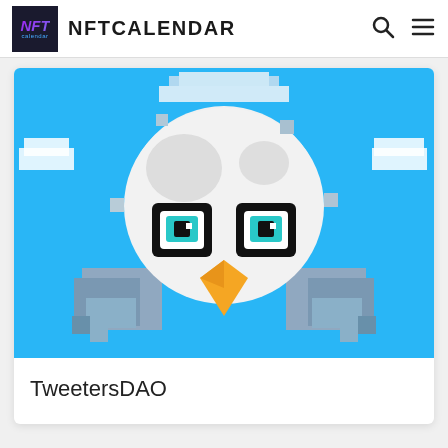NFTCALENDAR
[Figure (illustration): Pixel art of a cute white bird (resembling Twitter bird) with large black-outlined teal eyes, orange beak, white round head, light blue body/wings, on a sky blue background. The image has a pixelated/8-bit style.]
TweetersDAO